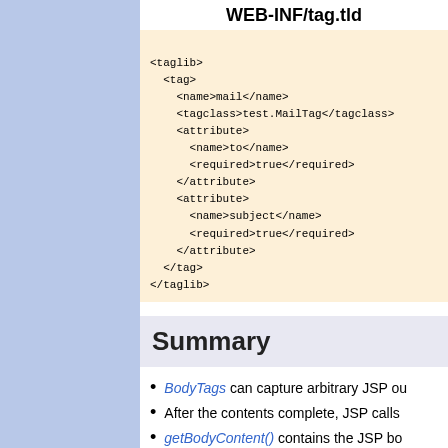WEB-INF/tag.tld
<taglib>
  <tag>
    <name>mail</name>
    <tagclass>test.MailTag</tagclass>
    <attribute>
      <name>to</name>
      <required>true</required>
    </attribute>
    <attribute>
      <name>subject</name>
      <required>true</required>
    </attribute>
  </tag>
</taglib>
Summary
BodyTags can capture arbitrary JSP ou
After the contents complete, JSP calls
getBodyContent() contains the JSP bo
VFS mailto: sends mail.
Tag Attributes   Tag Libraries
Copyright © 1998-2005 Caucho Technology, Inc. Al